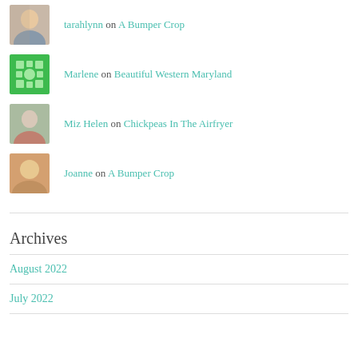tarahlynn on A Bumper Crop
Marlene on Beautiful Western Maryland
Miz Helen on Chickpeas In The Airfryer
Joanne on A Bumper Crop
Archives
August 2022
July 2022